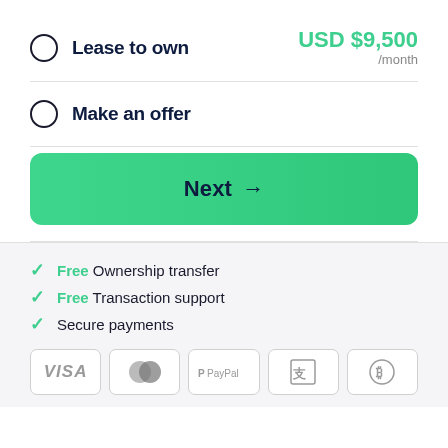Lease to own — USD $9,500 /month
Make an offer
Next →
Free Ownership transfer
Free Transaction support
Secure payments
[Figure (other): Payment method icons: VISA, Mastercard, PayPal, Alipay, Bitcoin]